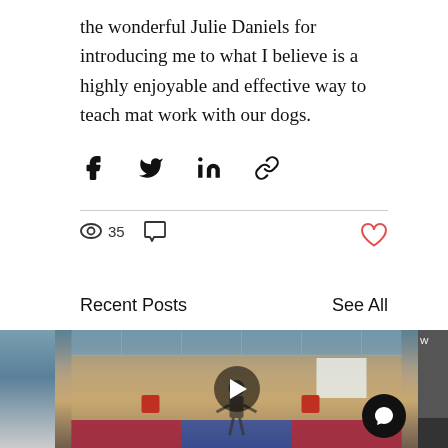the wonderful Julie Daniels for introducing me to what I believe is a highly enjoyable and effective way to teach mat work with our dogs.
[Figure (infographic): Social share icons: Facebook, Twitter, LinkedIn, and a link/chain icon]
35 views, 0 comments, like button
Recent Posts
See All
[Figure (photo): A strip of recent post thumbnail images including a video thumbnail showing a person with a dog in an indoor training space on colorful mats, with a play button overlay and a chat button]